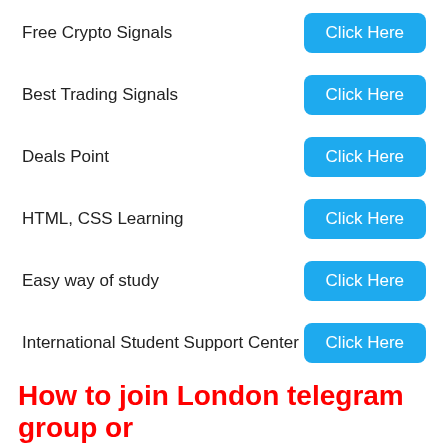Free Crypto Signals  Click Here
Best Trading Signals  Click Here
Deals Point  Click Here
HTML, CSS Learning  Click Here
Easy way of study  Click Here
International Student Support Center  Click Here
How to join London telegram group or